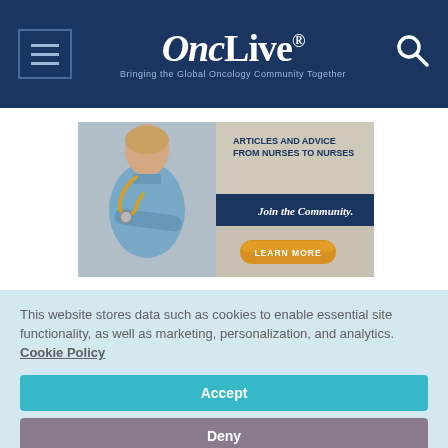OncLive® — Bringing the Global Oncology Community Together
[Figure (illustration): Advertisement banner showing a nurse in blue scrubs with stethoscope, arms crossed. Text reads: ARTICLES AND ADVICE FROM NURSES TO NURSES. Join the Community. LEARN MORE button.]
This website stores data such as cookies to enable essential site functionality, as well as marketing, personalization, and analytics. Cookie Policy
Accept
Deny